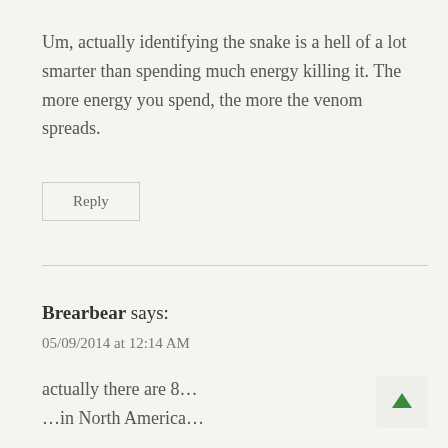Um, actually identifying the snake is a hell of a lot smarter than spending much energy killing it. The more energy you spend, the more the venom spreads.
Reply
Brearbear says:
05/09/2014 at 12:14 AM
actually there are 8…
…in North America…

…one of my ex girlfriends